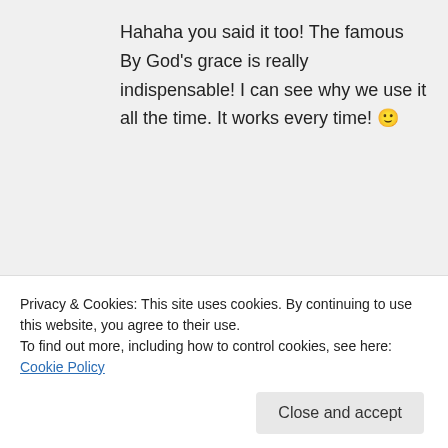Hahaha you said it too! The famous By God’s grace is really indispensable! I can see why we use it all the time. It works every time! 🙂
★ Like
↪ Reply
livelytwist on September 13
Privacy & Cookies: This site uses cookies. By continuing to use this website, you agree to their use. To find out more, including how to control cookies, see here: Cookie Policy
Close and accept